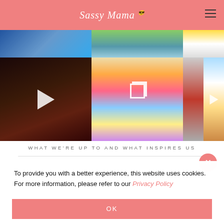Sassy Mama
[Figure (photo): Instagram photo grid showing colorful images: illuminated figures, playground equipment, poolside furniture, and outdoor scenes]
WHAT WE'RE UP TO AND WHAT INSPIRES US
To provide you with a better experience, this website uses cookies. For more information, please refer to our Privacy Policy
OK